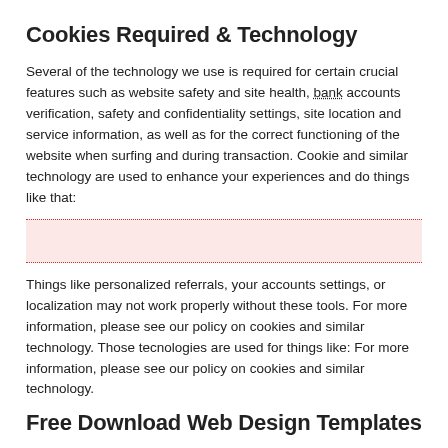Cookies Required & Technology
Several of the technology we use is required for certain crucial features such as website safety and site health, bank accounts verification, safety and confidentiality settings, site location and service information, as well as for the correct functioning of the website when surfing and during transaction. Cookie and similar technology are used to enhance your experiences and do things like that:
[Figure (other): A redacted/highlighted pink box with dotted red top and bottom borders indicating removed or censored content.]
Things like personalized referrals, your accounts settings, or localization may not work properly without these tools. For more information, please see our policy on cookies and similar technology. Those tecnologies are used for things like: For more information, please see our policy on cookies and similar technology.
Free Download Web Design Templates